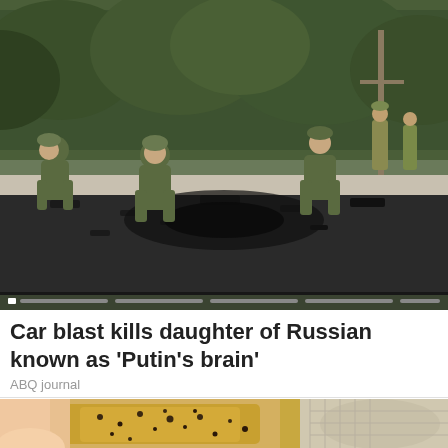[Figure (photo): Soldiers in green military uniforms crouching on a scorched road investigating debris from a car explosion. Trees and a utility pole visible in the background. A progress/slideshow indicator bar visible at the bottom of the image.]
Car blast kills daughter of Russian known as 'Putin's brain'
ABQ journal
[Figure (photo): Close-up photo of a finger or skin surface with yellow/gold granular substance covered in dark spots, partially cropped.]